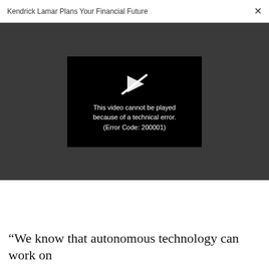Kendrick Lamar Plans Your Financial Future   ×
[Figure (screenshot): Video player showing error message: 'This video cannot be played because of a technical error. (Error Code: 200001)' with a broken play button icon on a black background, set against a dark gray background.]
“We know that autonomous technology can work on